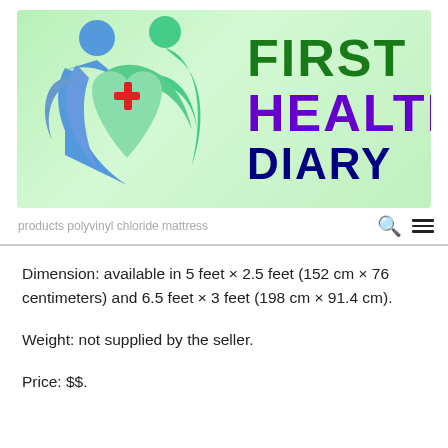[Figure (logo): First Health Diary logo with green gradient background, two human figures and a medical cross in blue/green/red, with text FIRST HEALTH DIARY in green, purple, and dark blue.]
products  polyvinyl chloride mattress
Dimension: available in 5 feet × 2.5 feet (152 cm × 76 centimeters) and 6.5 feet × 3 feet (198 cm × 91.4 cm).
Weight: not supplied by the seller.
Price: $$.